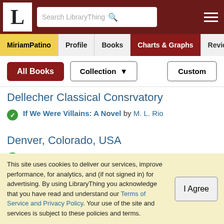LibraryThing — Search LibraryThing
MiriamPatino | Profile | Books | Charts & Graphs | Reviews
All Books | Collection ▾ | Custom
Dellecher Classical Consrvatory
If We Were Villains: A Novel by M. L. Rio
Denver, Colorado, USA
Midnight at the Bright Ideas Bookstore: A Novel by Matthew Sullivan
This site uses cookies to deliver our services, improve performance, for analytics, and (if not signed in) for advertising. By using LibraryThing you acknowledge that you have read and understand our Terms of Service and Privacy Policy. Your use of the site and services is subject to these policies and terms.